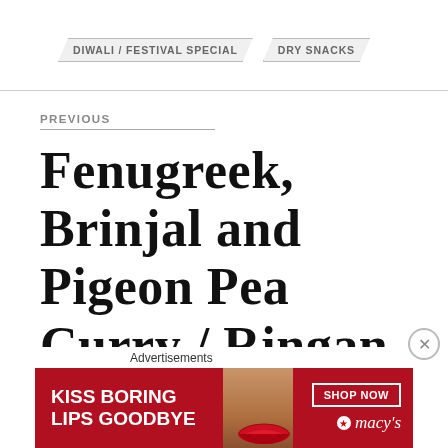DIWALI / FESTIVAL SPECIAL
DRY SNACKS
PREVIOUS
FENUGREEK, BRINJAL and PIGEON PEA CURRY / RINGAN TUVER METHI NU SHAK
[Figure (illustration): Advertisement banner for Macy's lipstick with text KISS BORING LIPS GOODBYE and SHOP NOW button]
Advertisements